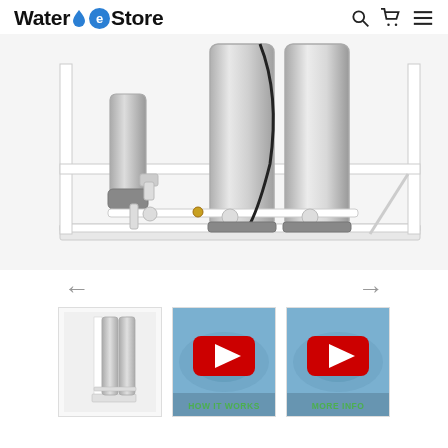Water eStore
[Figure (photo): Large product image of a stainless steel water filtration/reverse osmosis system mounted on a white metal frame with drip tray, showing filter housings, piping, and pump assembly]
[Figure (photo): Navigation arrows: left arrow and right arrow for image carousel]
[Figure (photo): Thumbnail image of full water filtration system unit]
[Figure (photo): YouTube play button thumbnail with label 'HOW IT WORKS']
[Figure (photo): YouTube play button thumbnail with label 'MORE INFO']